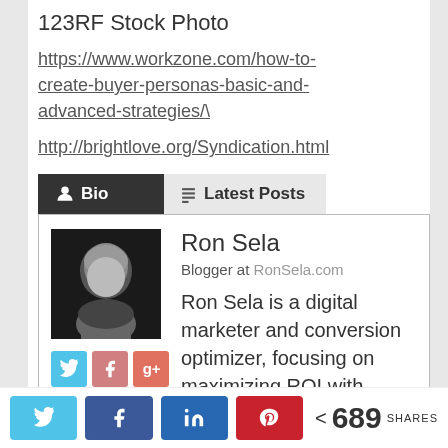123RF Stock Photo
https://www.workzone.com/how-to-create-buyer-personas-basic-and-advanced-strategies/\
http://brightlove.org/Syndication.html
[Figure (screenshot): Bio and Latest Posts tabs with Ron Sela bio card showing photo, social media icons (Twitter, Facebook, Google+, LinkedIn, Instagram, Pinterest), name, role 'Blogger at RonSela.com', and description 'Ron Sela is a digital marketer and conversion optimizer, focusing on maximizing ROI with content']
[Figure (infographic): Social share bar at bottom with Twitter, Facebook, LinkedIn, Pinterest share buttons and a share count showing 689 SHARES]